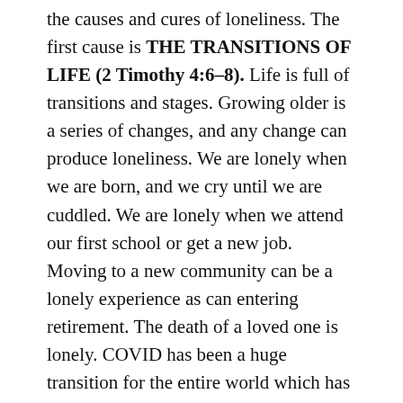the causes and cures of loneliness. The first cause is THE TRANSITIONS OF LIFE (2 Timothy 4:6–8). Life is full of transitions and stages. Growing older is a series of changes, and any change can produce loneliness. We are lonely when we are born, and we cry until we are cuddled. We are lonely when we attend our first school or get a new job. Moving to a new community can be a lonely experience as can entering retirement. The death of a loved one is lonely. COVID has been a huge transition for the entire world which has resulted in many experiencing more loneliness.
The apostle Paul is now in the final transition of life, and he knows his time is short. He is